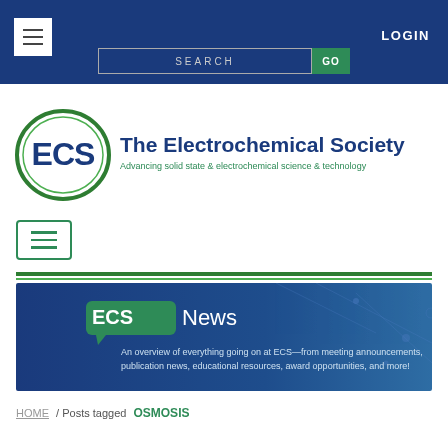LOGIN
[Figure (logo): ECS - The Electrochemical Society logo with tagline: Advancing solid state & electrochemical science & technology]
[Figure (screenshot): ECS News banner: An overview of everything going on at ECS—from meeting announcements, publication news, educational resources, award opportunities, and more!]
HOME / Posts tagged OSMOSIS